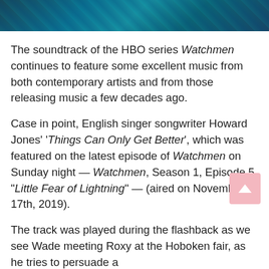[Figure (photo): A dark teal/blue toned banner image, appears to be a still from the Watchmen HBO series]
The soundtrack of the HBO series Watchmen continues to feature some excellent music from both contemporary artists and from those releasing music a few decades ago.
Case in point, English singer songwriter Howard Jones' 'Things Can Only Get Better', which was featured on the latest episode of Watchmen on Sunday night — Watchmen, Season 1, Episode 5, "Little Fear of Lightning" — (aired on November 17th, 2019).
The track was played during the flashback as we see Wade meeting Roxy at the Hoboken fair, as he tries to persuade a